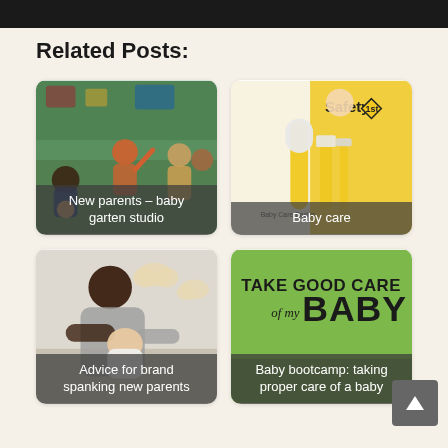[Figure (other): Dark header bar at top of page]
Related Posts:
[Figure (photo): Photo of parents and babies in a classroom/studio setting with caption 'New parents – baby garten studio']
[Figure (photo): Safety 1st baby care products (brushes, thermometer) on yellow/white packaging with caption 'Baby care']
[Figure (photo): Father holding a newborn baby with caption 'Advice for brand spanking new parents']
[Figure (illustration): Green poster reading 'TAKE GOOD CARE of my BABY' with caption 'Baby bootcamp: taking proper care of a baby']